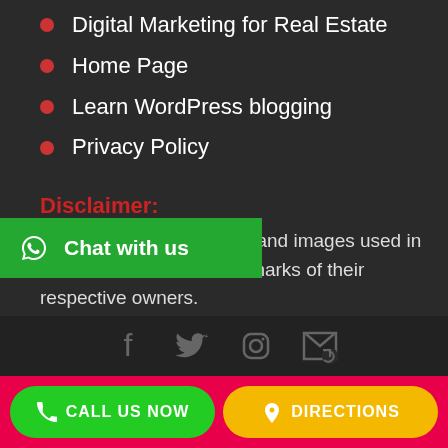Digital Marketing for Real Estate
Home Page
Learn WordPress blogging
Privacy Policy
Disclaimer:
The certifications, names and images used in the website are the trademarks of their respective owners.
[Figure (infographic): Green WhatsApp 'Chat with us' button overlay with WhatsApp icon]
[Figure (infographic): Footer social media icons: Facebook, Twitter, Instagram, RSS feed in grey on dark background]
[Figure (infographic): Bottom bar with green 'CALL US NOW' button and yellow 'DIRECTIONS' button on pink/red background]